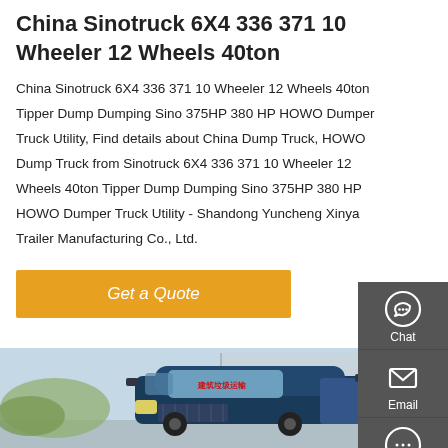China Sinotruck 6X4 336 371 10 Wheeler 12 Wheels 40ton
China Sinotruck 6X4 336 371 10 Wheeler 12 Wheels 40ton Tipper Dump Dumping Sino 375HP 380 HP HOWO Dumper Truck Utility, Find details about China Dump Truck, HOWO Dump Truck from Sinotruck 6X4 336 371 10 Wheeler 12 Wheels 40ton Tipper Dump Dumping Sino 375HP 380 HP HOWO Dumper Truck Utility - Shandong Yuncheng Xinya Trailer Manufacturing Co., Ltd.
[Figure (other): Orange 'Get a Quote' button]
[Figure (photo): Photo of a blue HOWO dump truck from the front/side view, with Chinese text on the windshield, parked in front of a building]
[Figure (infographic): Dark grey sidebar with Chat, Email, Contact, and Top navigation icons and labels]